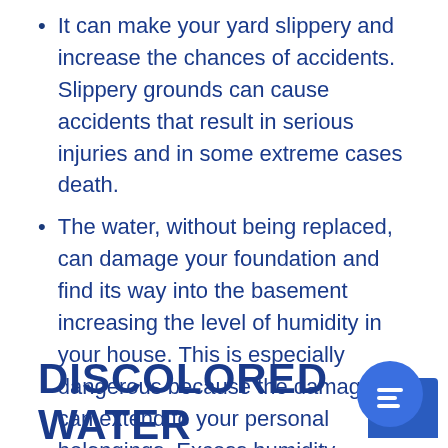It can make your yard slippery and increase the chances of accidents. Slippery grounds can cause accidents that result in serious injuries and in some extreme cases death.
The water, without being replaced, can damage your foundation and find its way into the basement increasing the level of humidity in your house. This is especially dangerous because the damage can extend to your personal belongings. Excess humidity provides the right conditions for the formation of mold in your house.
DISCOLORED WATER